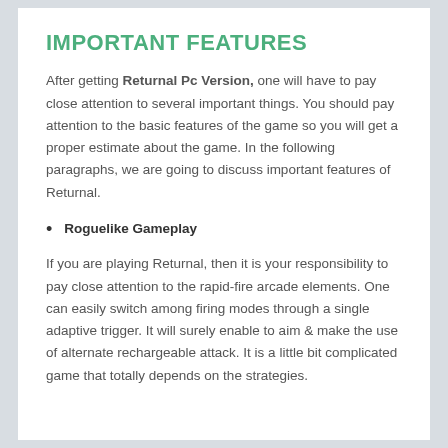IMPORTANT FEATURES
After getting Returnal Pc Version, one will have to pay close attention to several important things. You should pay attention to the basic features of the game so you will get a proper estimate about the game. In the following paragraphs, we are going to discuss important features of Returnal.
Roguelike Gameplay
If you are playing Returnal, then it is your responsibility to pay close attention to the rapid-fire arcade elements. One can easily switch among firing modes through a single adaptive trigger. It will surely enable to aim & make the use of alternate rechargeable attack. It is a little bit complicated game that totally depends on the strategies.